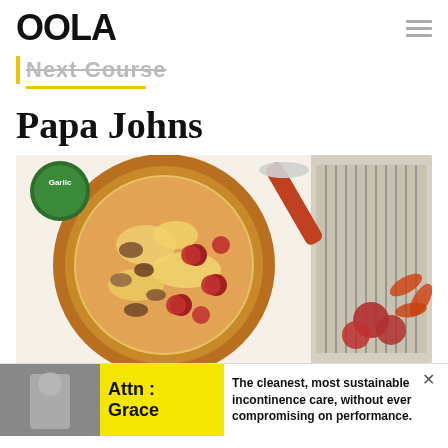OOLA
Next Course
Papa Johns
[Figure (photo): Overhead view of a Papa Johns pizza with multiple toppings including pepperoni, mushrooms, and cheese, shown in a pizza box with a pizza cutter visible. A green Garlic dipping sauce cup is visible in the top left.]
Attn : Grace
The cleanest, most sustainable incontinence care, without ever compromising on performance.